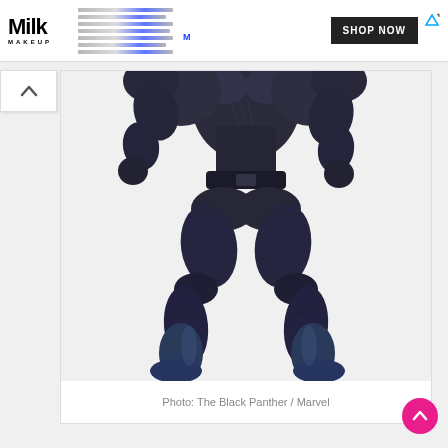[Figure (screenshot): Milk Makeup advertisement banner with logo, pencils/markers, and SHOP NOW button]
[Figure (photo): Black Panther Marvel action figure shown from torso down in a wide stance pose, dark metallic blue-black coloring against white background]
Photo: The Black Panther / Marvel